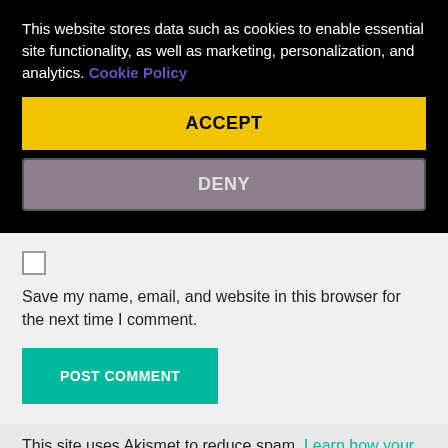This website stores data such as cookies to enable essential site functionality, as well as marketing, personalization, and analytics. Cookie Policy
ACCEPT
DENY
Save my name, email, and website in this browser for the next time I comment.
POST COMMENT
This site uses Akismet to reduce spam. Learn how your comment data is processed.